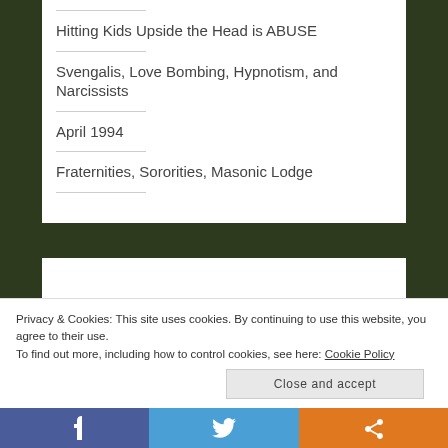Hitting Kids Upside the Head is ABUSE
Svengalis, Love Bombing, Hypnotism, and Narcissists
April 1994
Fraternities, Sororities, Masonic Lodge
Privacy & Cookies: This site uses cookies. By continuing to use this website, you agree to their use. To find out more, including how to control cookies, see here: Cookie Policy
Close and accept